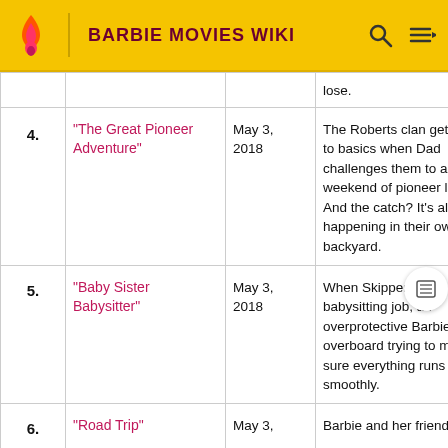BARBIE MOVIES WIKI
| # | Title | Air Date | Description |
| --- | --- | --- | --- |
|  |  |  | lose. |
| 4. | "The Great Pioneer Adventure" | May 3, 2018 | The Roberts clan gets back to basics when Dad challenges them to a weekend of pioneer living. And the catch? It's all happening in their own backyard. |
| 5. | "Baby Sister Babysitter" | May 3, 2018 | When Skipper snags her first babysitting job, an overprotective Barbie goes overboard trying to make sure everything runs smoothly. |
| 6. | "Road Trip" | May 3, | Barbie and her friends |